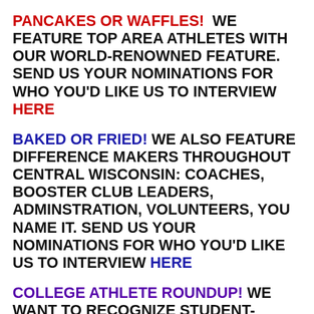PANCAKES OR WAFFLES! WE FEATURE TOP AREA ATHLETES WITH OUR WORLD-RENOWNED FEATURE. SEND US YOUR NOMINATIONS FOR WHO YOU'D LIKE US TO INTERVIEW HERE
BAKED OR FRIED! WE ALSO FEATURE DIFFERENCE MAKERS THROUGHOUT CENTRAL WISCONSIN: COACHES, BOOSTER CLUB LEADERS, ADMINSTRATION, VOLUNTEERS, YOU NAME IT. SEND US YOUR NOMINATIONS FOR WHO YOU'D LIKE US TO INTERVIEW HERE
COLLEGE ATHLETE ROUNDUP! WE WANT TO RECOGNIZE STUDENT-ATHLETES FROM